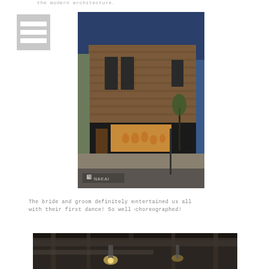the modern architecture.
[Figure (photo): Exterior nighttime photo of a modern building with warm wood cladding and large illuminated storefront windows. A NAKAI watermark appears in the lower left corner.]
The bride and groom definitely entertained us all with their first dance! So well choreographed!
[Figure (photo): Interior industrial ceiling photo showing exposed beams, ductwork and lighting fixtures.]